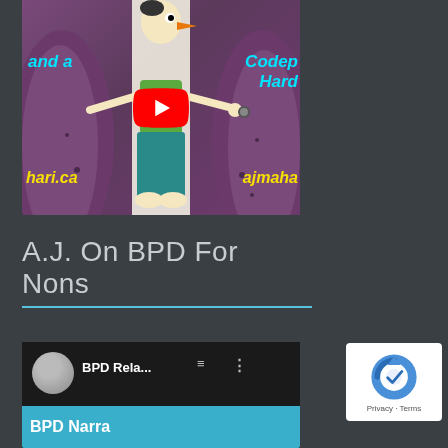[Figure (screenshot): YouTube video thumbnail showing a cartoon character squeezed between two rocks with cyan italic text 'and a' and 'Codep Hard' partially visible, yellow italic text 'hari.ca' and 'ajmaha' partially visible, and a YouTube play button overlay]
A.J. On BPD For Nons
[Figure (screenshot): YouTube video embed showing a circular avatar photo, title 'BPD Rela...' with menu and dots icons, and a teal banner reading 'BPD Narra' partially visible]
[Figure (logo): reCAPTCHA badge with blue circular arrow logo and 'Privacy - Terms' text below]